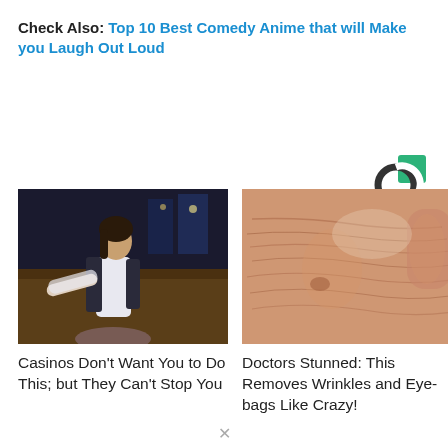Check Also: Top 10 Best Comedy Anime that will Make you Laugh Out Loud
[Figure (logo): Circular logo with green square background, partial circle icon in dark gray]
[Figure (photo): Woman in white shirt and dark blazer in a casino setting]
Casinos Don't Want You to Do This; but They Can't Stop You
[Figure (photo): Close-up of elderly skin showing wrinkles and texture near nose and cheek]
Doctors Stunned: This Removes Wrinkles and Eye-bags Like Crazy!